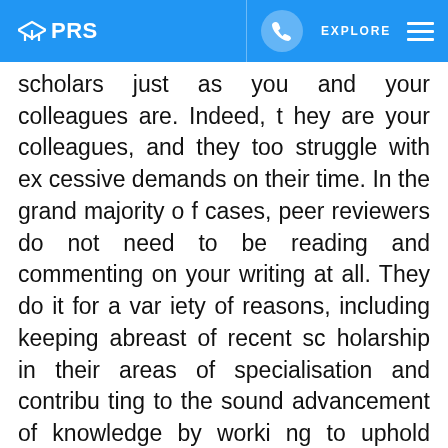PRS
scholars just as you and your colleagues are. Indeed, they are your colleagues, and they too struggle with excessive demands on their time. In the grand majority of cases, peer reviewers do not need to be reading and commenting on your writing at all. They do it for a variety of reasons, including keeping abreast of recent scholarship in their areas of specialisation and contributing to the sound advancement of knowledge by working to uphold academic and scientific standards. Yes, there are benefits of various kinds for them, but their work also benefits you as a reader and researcher and your discipline as a whole. For the most part, peer reviewers are experts who perform an invaluable service for scholarly publication, and their generosity in sacrificing their time and sharing their knowledge and experie